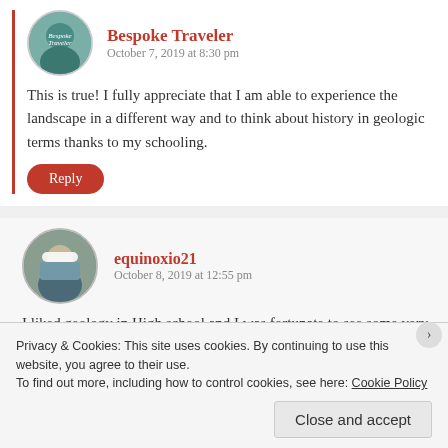Bespoke Traveler
October 7, 2019 at 8:30 pm
This is true! I fully appreciate that I am able to experience the landscape in a different way and to think about history in geologic terms thanks to my schooling.
Reply
equinoxio21
October 8, 2019 at 12:55 pm
I liked geology in High school and I was fortunate to see some very impressive rock formations near Lake Naïvasha, in Kenya. Thinking to myself then that we
Privacy & Cookies: This site uses cookies. By continuing to use this website, you agree to their use.
To find out more, including how to control cookies, see here: Cookie Policy
Close and accept